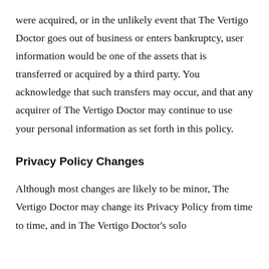were acquired, or in the unlikely event that The Vertigo Doctor goes out of business or enters bankruptcy, user information would be one of the assets that is transferred or acquired by a third party. You acknowledge that such transfers may occur, and that any acquirer of The Vertigo Doctor may continue to use your personal information as set forth in this policy.
Privacy Policy Changes
Although most changes are likely to be minor, The Vertigo Doctor may change its Privacy Policy from time to time, and in The Vertigo Doctor's solo